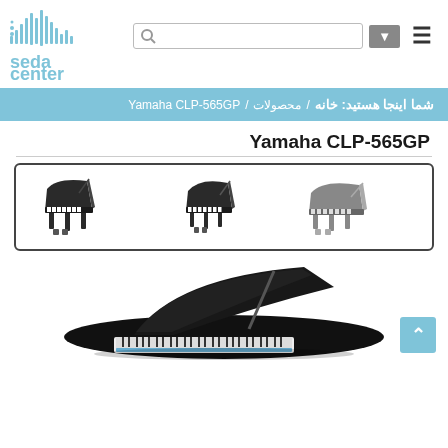[Figure (logo): Seda Center logo with sound wave graphic and blue text reading 'seda center']
[Figure (screenshot): Search bar with magnifying glass icon and dropdown arrow, and hamburger menu icon]
شما اینجا هستید: خانه / محصولات / Yamaha CLP-565GP
Yamaha CLP-565GP
[Figure (illustration): Three grand piano silhouettes in a bordered thumbnail strip showing different angles/colors of the Yamaha CLP-565GP]
[Figure (photo): Large photo of black Yamaha CLP-565GP grand piano with lid open, viewed from front-right angle]